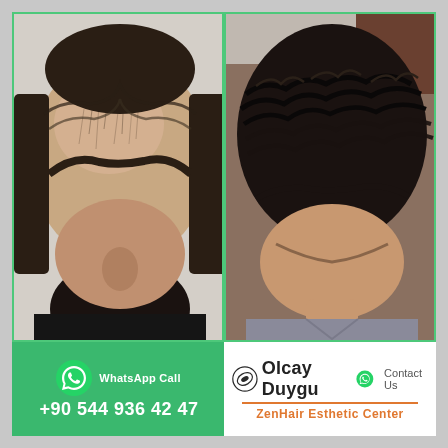[Figure (photo): Before and after hair transplant comparison. Left photo (before): Top-down view of a man's head showing significant hair thinning and balding on the crown and front, with dark hair on sides. Right photo (after): Top-down view of the same man's head showing full, thick, curly dark hair coverage across the scalp after hair transplant procedure.]
WhatsApp Call
+90 544 936 42 47
Olcay Duygu
Contact Us
ZenHair Esthetic Center